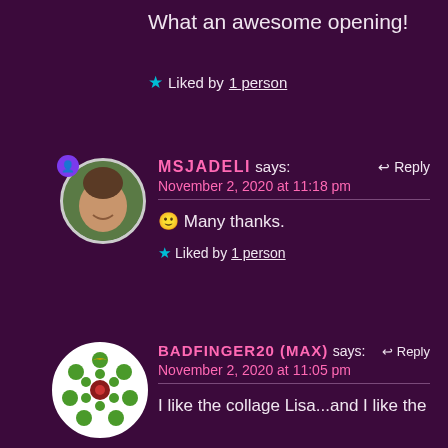What an awesome opening!
★ Liked by 1 person
MSJADELI says: November 2, 2020 at 11:18 pm ↩ Reply
🙂 Many thanks.
★ Liked by 1 person
BADFINGER20 (MAX) says: November 2, 2020 at 11:05 pm ↩ Reply
I like the collage Lisa...and I like the